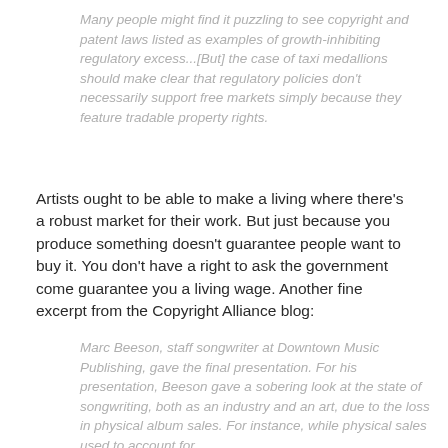Many people might find it puzzling to see copyright and patent laws listed as examples of growth-inhibiting regulatory excess...[But] the case of taxi medallions should make clear that regulatory policies don't necessarily support free markets simply because they feature tradable property rights.
Artists ought to be able to make a living where there's a robust market for their work. But just because you produce something doesn't guarantee people want to buy it. You don't have a right to ask the government come guarantee you a living wage. Another fine excerpt from the Copyright Alliance blog:
Marc Beeson, staff songwriter at Downtown Music Publishing, gave the final presentation. For his presentation, Beeson gave a sobering look at the state of songwriting, both as an industry and an art, due to the loss in physical album sales. For instance, while physical sales used to account for